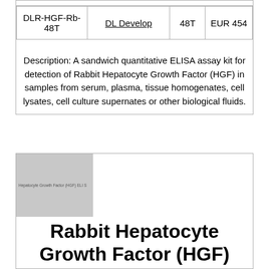|  | DL Develop | 48T | EUR 454 |
| --- | --- | --- | --- |
| DLR-HGF-Rb-48T | DL Develop | 48T | EUR 454 |
Description: A sandwich quantitative ELISA assay kit for detection of Rabbit Hepatocyte Growth Factor (HGF) in samples from serum, plasma, tissue homogenates, cell lysates, cell culture supernates or other biological fluids.
[Figure (photo): Product image placeholder for Rabbit Hepatocyte Growth Factor (HGF) ELISA Kit]
Rabbit Hepatocyte Growth Factor (HGF) ELISA Kit